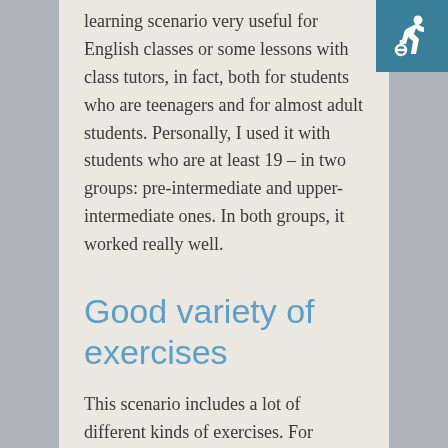learning scenario very useful for English classes or some lessons with class tutors, in fact, both for students who are teenagers and for almost adult students. Personally, I used it with students who are at least 19 – in two groups: pre-intermediate and upper-intermediate ones. In both groups, it worked really well.
Good variety of exercises
This scenario includes a lot of different kinds of exercises. For teachers, the